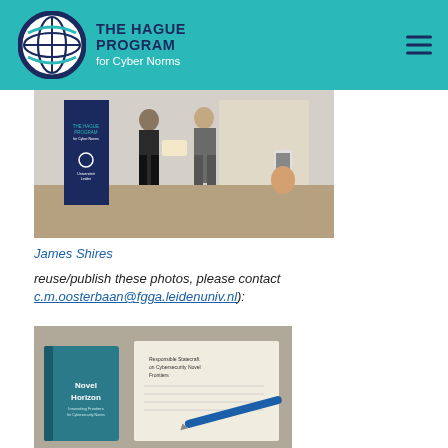THE HAGUE PROGRAM for Cyber Norms
[Figure (photo): Two men shaking hands and exchanging a document/certificate at an event, with The Hague Program for Cyber Norms and Universiteit Leiden banners in the background; a person photographing the event on a smartphone in the foreground]
James Shires
reuse/publish these photos, please contact c.m.oosterbaan@fgga.leidenuniv.nl):
[Figure (photo): Close-up of a book titled 'Novel Horizons' and a document about cybersecurity/cyber norms on a table with a blue pen]